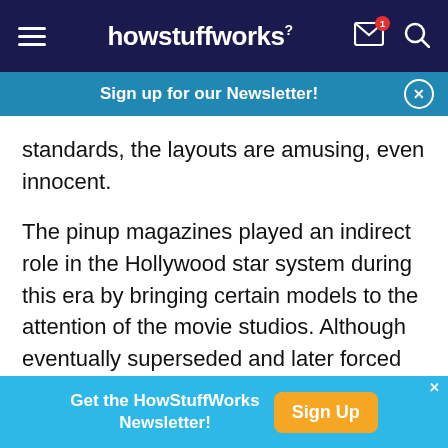howstuffworks
Sign up for our Newsletter!
standards, the layouts are amusing, even innocent.
The pinup magazines played an indirect role in the Hollywood star system during this era by bringing certain models to the attention of the movie studios. Although eventually superseded and later forced into extinction by the bolder Playboy and its many imitators, these earlier magazines provided invaluable exposure for many ambitious models who aimed for Hollywood careers.
Get the HowStuffWorks Newsletter! Sign Up